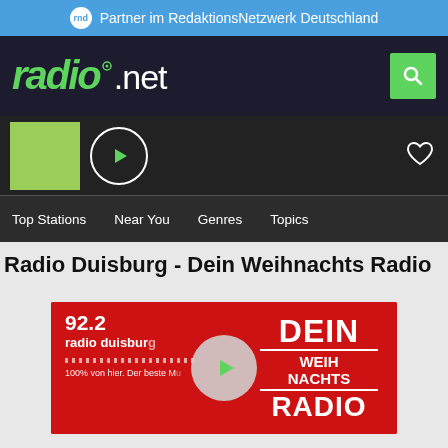Partner im RedaktionsNetzwerk Deutschland
[Figure (logo): radio.net logo in green italic text with white '.net' on dark background, and green search button]
[Figure (screenshot): Player bar with green station thumbnail, play button circle, and heart/favorite icon]
Top Stations   Near You   Genres   Topics
Radio Duisburg - Dein Weihnachts Radio
[Figure (screenshot): Radio Duisburg station card showing 92.2 radio duisburg logo on red background with 'DEIN WEIHNACHTS RADIO' text and play button overlay]